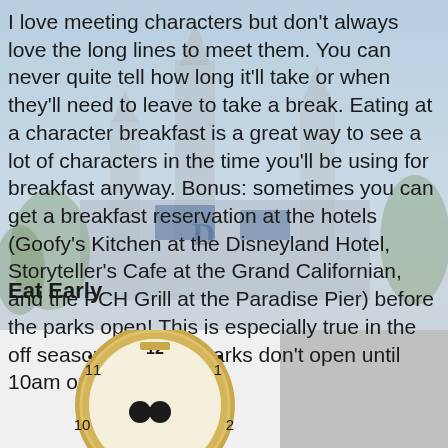I love meeting characters but don't always love the long lines to meet them. You can never quite tell how long it'll take or when they'll need to leave to take a break. Eating at a character breakfast is a great way to see a lot of characters in the time you'll be using for breakfast anyway. Bonus: sometimes you can get a breakfast reservation at the hotels (Goofy's Kitchen at the Disneyland Hotel, Storyteller's Cafe at the Grand Californian, and the PCH Grill at the Paradise Pier) before the parks open! This is especially true in the off season when the parks don't open until 10am on weekdays.
Eat Early
[Figure (photo): A Mickey Mouse themed wristwatch with a gold case, brown leather strap, showing the clock face with Mickey Mouse hands, numerals 10, 11, 12, 1, 2 visible, face partially cropped at bottom.]